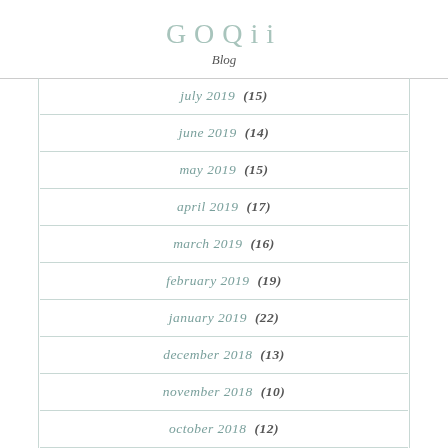GOQii Blog
july 2019 (15)
june 2019 (14)
may 2019 (15)
april 2019 (17)
march 2019 (16)
february 2019 (19)
january 2019 (22)
december 2018 (13)
november 2018 (10)
october 2018 (12)
september 2018 (13)
august 2018 (23)